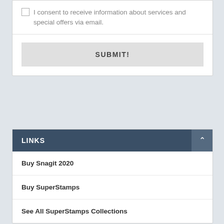I consent to receive information about services and special offers via email.
SUBMIT!
LINKS
Buy Snagit 2020
Buy SuperStamps
See All SuperStamps Collections